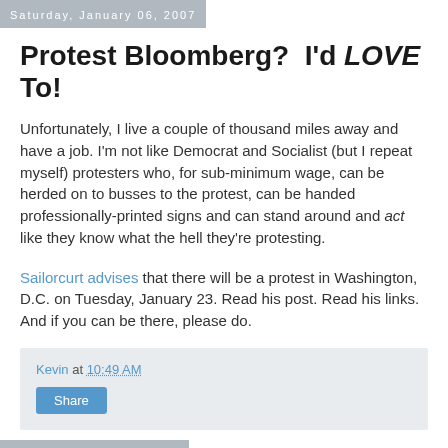Saturday, January 06, 2007
Protest Bloomberg?  I'd LOVE To!
Unfortunately, I live a couple of thousand miles away and have a job. I'm not like Democrat and Socialist (but I repeat myself) protesters who, for sub-minimum wage, can be herded on to busses to the protest, can be handed professionally-printed signs and can stand around and act like they know what the hell they're protesting.
Sailorcurt advises that there will be a protest in Washington, D.C. on Tuesday, January 23. Read his post. Read his links. And if you can be there, please do.
Kevin at 10:49 AM
Friday, January 05, 2007